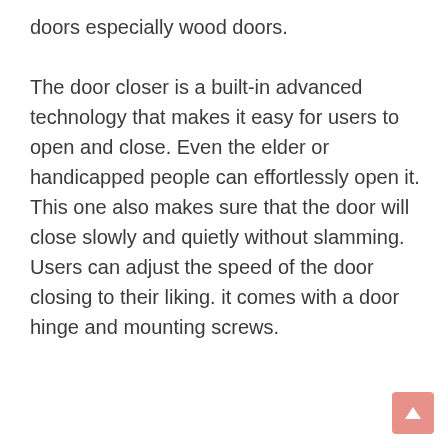doors especially wood doors.
The door closer is a built-in advanced technology that makes it easy for users to open and close. Even the elder or handicapped people can effortlessly open it. This one also makes sure that the door will close slowly and quietly without slamming. Users can adjust the speed of the door closing to their liking. it comes with a door hinge and mounting screws.